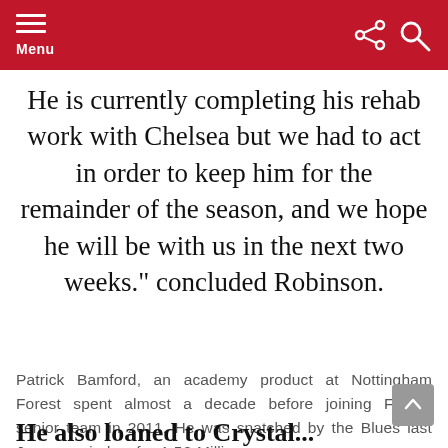Menu
He is currently completing his rehab work with Chelsea but we had to act in order to keep him for the remainder of the season, and we hope he will be with us in the next two weeks." concluded Robinson.
Patrick Bamford, an academy product at Nottingham Forest spent almost a decade before joining Forest' senior team in 2011. He was snatched by the Blues last January window for 1.5£ Million.
He also loaned to Crystal...